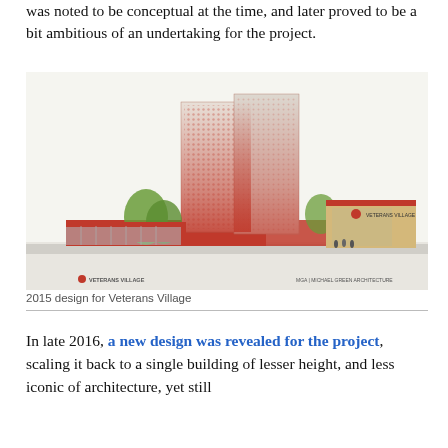was noted to be conceptual at the time, and later proved to be a bit ambitious of an undertaking for the project.
[Figure (illustration): Architectural rendering of the 2015 design for Veterans Village, showing two tall towers with a red and white patterned facade rising from a low-rise base with red walls, green trees, and pedestrians. Labels read 'JASSO VETERANS VILLAGE' and 'MGA | MICHAEL GREEN ARCHITECTURE'.]
2015 design for Veterans Village
In late 2016, a new design was revealed for the project, scaling it back to a single building of lesser height, and less iconic of architecture, yet still